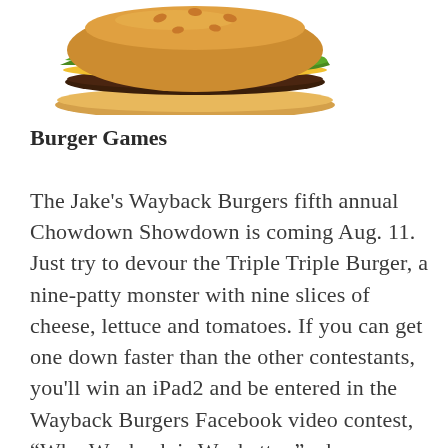[Figure (photo): A burger with lettuce and a sesame seed bun, viewed from the side, partial image cropped at top]
Burger Games
The Jake’s Wayback Burgers fifth annual Chowdown Showdown is coming Aug. 11. Just try to devour the Triple Triple Burger, a nine-patty monster with nine slices of cheese, lettuce and tomatoes. If you can get one down faster than the other contestants, you’ll win an iPad2 and be entered in the Wayback Burgers Facebook video contest, “Why Wayback is Waybetter,” where you could win a $1,000 cash prize, based on how many Facebook fans vote for your vid. Hit Jake’s at Bear, Middletown, Newark, Rehoboth Beach, Sea...